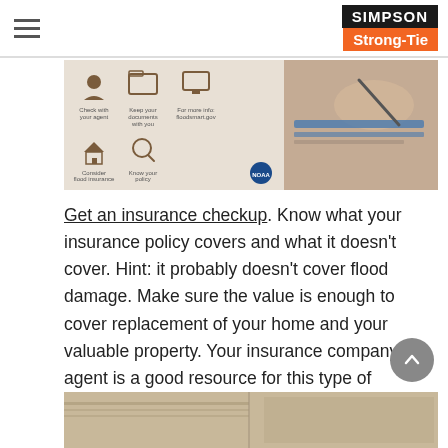Simpson Strong-Tie
[Figure (infographic): NOAA hurricane season flood preparedness infographic showing 5 tips: Check with your agent, Keep your documents with you, For more info: floodsmart.gov, Consider flood insurance, Know your policy. Text at bottom: While preparing for Hurricane season, follow the latest health guidelines from the CDC and your local officials. Right half shows a photo of hands writing on paper with a blue folder.]
Get an insurance checkup. Know what your insurance policy covers and what it doesn't cover. Hint: it probably doesn't cover flood damage. Make sure the value is enough to cover replacement of your home and your valuable property. Your insurance company or agent is a good resource for this type of information.
[Figure (photo): Bottom strip showing a partial photo of documents/papers on a desk.]